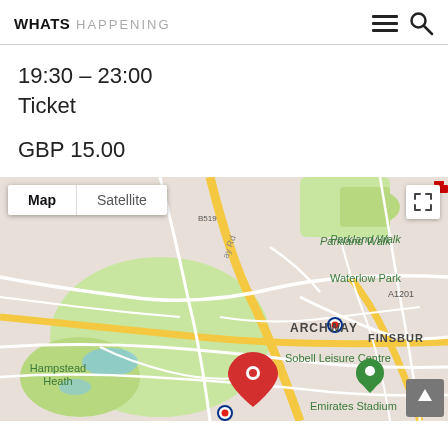WHATS HAPPENING
19:30 – 23:00
Ticket
GBP 15.00
[Figure (map): Google Map showing Archway area of London, including Waterlow Park, Hampstead Heath, Sobell Leisure Centre, Emirates Stadium, Parkland Walk, Finsbury area. Red pin marker and green location marker visible. Map/Satellite toggle buttons shown.]